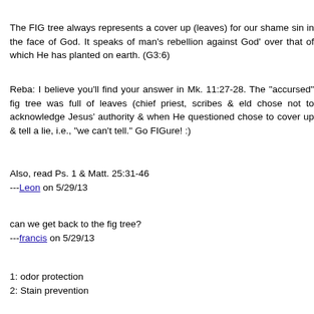The FIG tree always represents a cover up (leaves) for our shame sin in the face of God. It speaks of man's rebellion against God's over that of which He has planted on earth. (G3:6)
Reba: I believe you'll find your answer in Mk. 11:27-28. The "accursed" fig tree was full of leaves (chief priest, scribes & elders) chose not to acknowledge Jesus' authority & when He questioned chose to cover up & tell a lie, i.e., "we can't tell." Go FIGure! :)
Also, read Ps. 1 & Matt. 25:31-46
---Leon on 5/29/13
can we get back to the fig tree?
---francis on 5/29/13
1: odor protection
2: Stain prevention